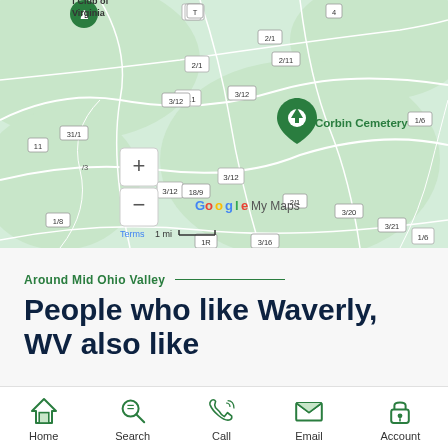[Figure (map): Google My Maps showing Corbin Cemetery near Waverly, WV in Mid Ohio Valley region. Map shows road labels like 2/1, 2/11, 3/12, 31/1, 18/9, 3/20, 3/21, 3/16, 1/6, 1/8, with zoom controls (+/-) and Google My Maps watermark. Terms and 1 mi scale bar visible.]
Around Mid Ohio Valley
People who like Waverly, WV also like
[Figure (infographic): Bottom navigation bar with five icons: Home (house), Search (magnifying glass), Call (phone), Email (envelope), Account (padlock). All icons in green outline style.]